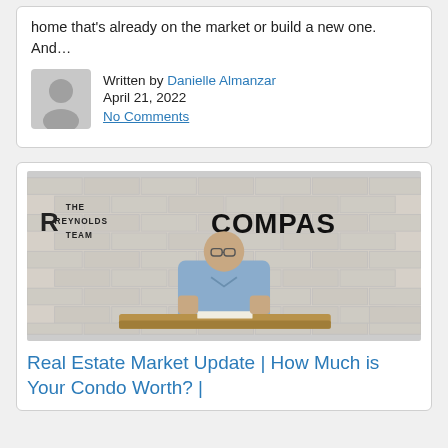home that's already on the market or build a new one. And…
Written by Danielle Almanzar
April 21, 2022
No Comments
[Figure (photo): Man in light blue shirt standing behind a desk in front of a white brick wall with 'The Reynolds Team' and 'COMPASS' logos]
Real Estate Market Update | How Much is Your Condo Worth? |